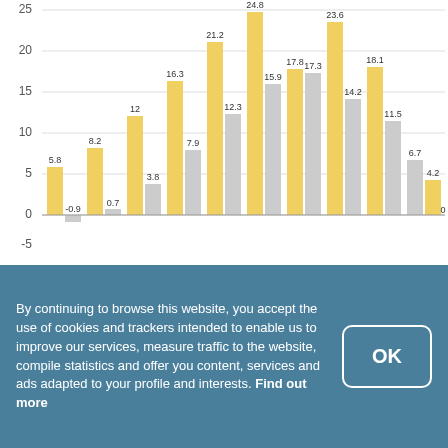[Figure (grouped-bar-chart): ]
By continuing to browse this website, you accept the use of cookies and trackers intended to enable us to improve our services, measure traffic to the website, compile statistics and offer you content, services and ads adapted to your profile and interests. Find out more